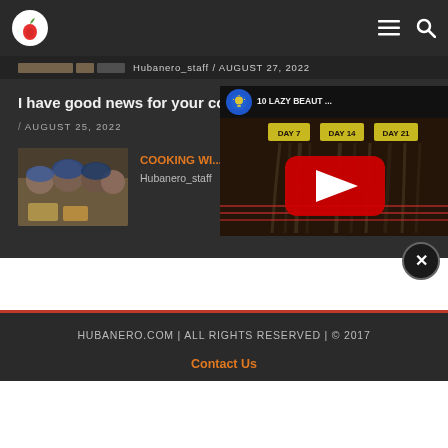[Figure (logo): Hubanero logo - red chili pepper on white circle]
Hubanero_staff / AUGUST 27, 2022
I have good news for your content
/ AUGUST 25, 2022
[Figure (photo): Group of women posing with food]
COOKING WI...
Hubanero_staff
[Figure (screenshot): YouTube video overlay showing '10 LAZY BEAUT ...' with YouTube play button, lightbulb icon, DAY 7, DAY 14, DAY 21 labels]
HUBANERO.COM | ALL RIGHTS RESERVED | © 2017
Contact Us